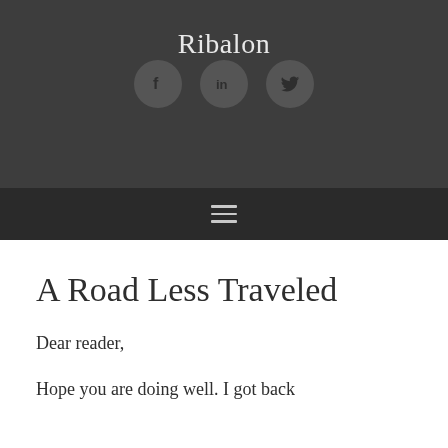Ribalon
[Figure (other): Social media icons: Facebook (f), LinkedIn (in), Twitter (bird) — three dark circular buttons on a dark grey background]
[Figure (other): Hamburger menu icon — three horizontal lines on a darker grey navigation bar]
A Road Less Traveled
Dear reader,
Hope you are doing well. I got back